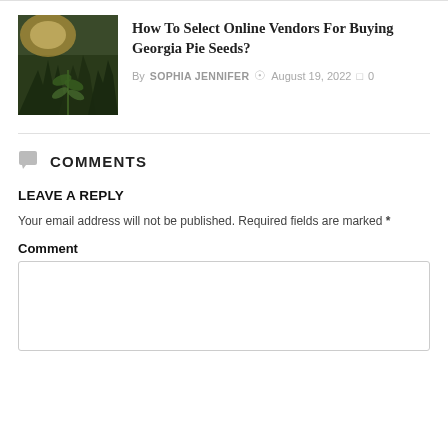[Figure (photo): Thumbnail photo of cannabis/hemp plant with sunlight in background]
How To Select Online Vendors For Buying Georgia Pie Seeds?
By SOPHIA JENNIFER  ○ August 19, 2022  □ 0
COMMENTS
LEAVE A REPLY
Your email address will not be published. Required fields are marked *
Comment